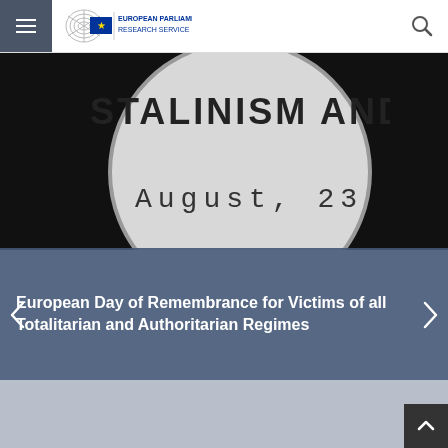European Parliamentary Research Service
[Figure (photo): Close-up of a document or book page showing the text 'STALINISM AND NAZISM' with a magnifying glass effect revealing 'August, 23' below it, on a dark background.]
European Day of Remembrance for Victims of all Totalitarian and Authoritarian Regimes